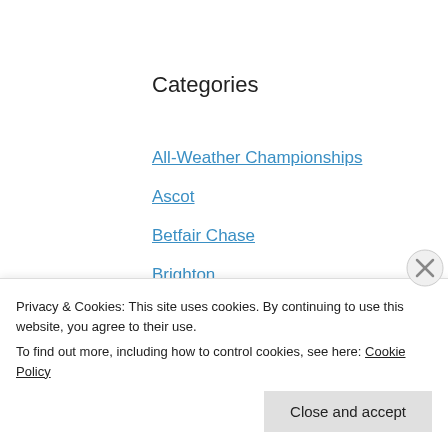Categories
All-Weather Championships
Ascot
Betfair Chase
Brighton
British Champions Day
British Champions Series
Chelmsford City
Cheltenham
Epsom
Privacy & Cookies: This site uses cookies. By continuing to use this website, you agree to their use.
To find out more, including how to control cookies, see here: Cookie Policy
Close and accept